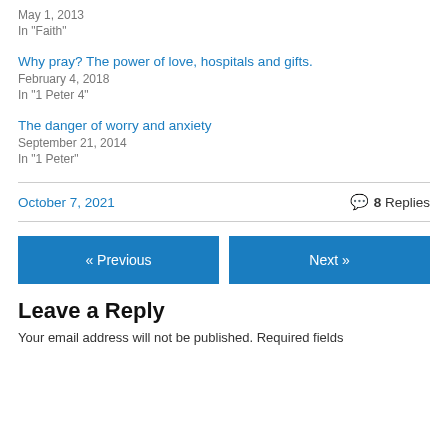May 1, 2013
In "Faith"
Why pray? The power of love, hospitals and gifts.
February 4, 2018
In "1 Peter 4"
The danger of worry and anxiety
September 21, 2014
In "1 Peter"
October 7, 2021
8 Replies
« Previous
Next »
Leave a Reply
Your email address will not be published. Required fields